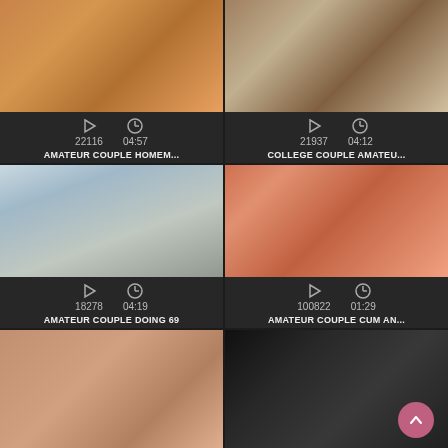[Figure (screenshot): Video thumbnail grid with 6 video cards showing adult content titles, play counts, and durations]
22116  04:57
AMATEUR COUPLE HOMEM...
21937  04:12
COLLEGE COUPLE AMATEU...
18278  04:19
AMATEUR COUPLE DOING 69
100822  01:29
AMATEUR COUPLE CUM AN...